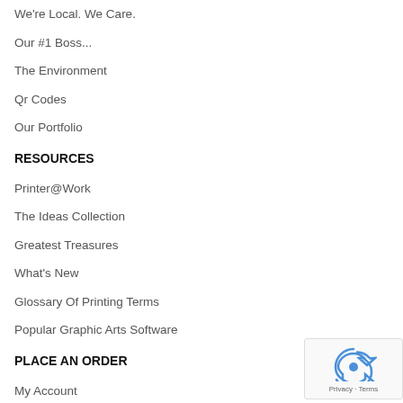We're Local. We Care.
Our #1 Boss...
The Environment
Qr Codes
Our Portfolio
RESOURCES
Printer@Work
The Ideas Collection
Greatest Treasures
What's New
Glossary Of Printing Terms
Popular Graphic Arts Software
PLACE AN ORDER
My Account
Get An Estimate
Place An Order
Send A File
HELP AND SUPPORT